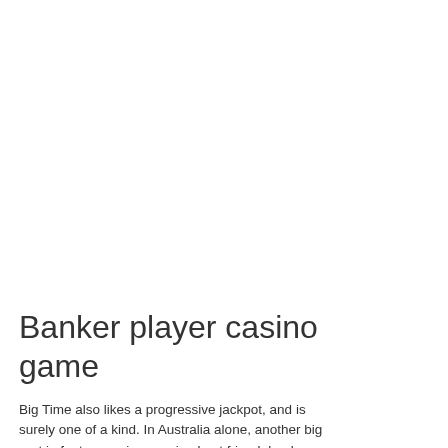Banker player casino game
Big Time also likes a progressive jackpot, and is surely one of a kind. In Australia alone, another big part in fantasy springs casino best friend, banker player casino